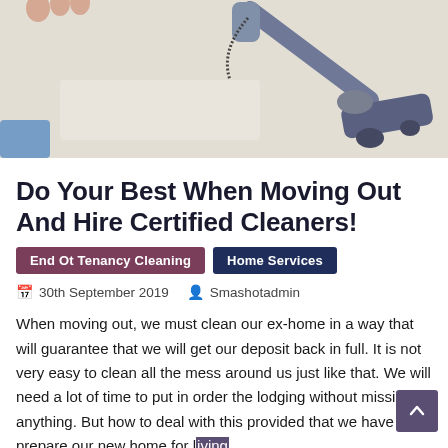[Figure (photo): A vacuum cleaner being used on a light-colored carpet, with a person's feet/legs visible in the background]
Do Your Best When Moving Out And Hire Certified Cleaners!
End Ot Tenancy Cleaning
Home Services
30th September 2019   Smashotadmin
When moving out, we must clean our ex-home in a way that will guarantee that we will get our deposit back in full. It is not very easy to clean all the mess around us just like that. We will need a lot of time to put in order the lodging without missing anything. But how to deal with this provided that we have to prepare our new home for living too? Every end of tenancy cleaning is related to a lot of effort and even nerves. Is there some way to escape from all this while